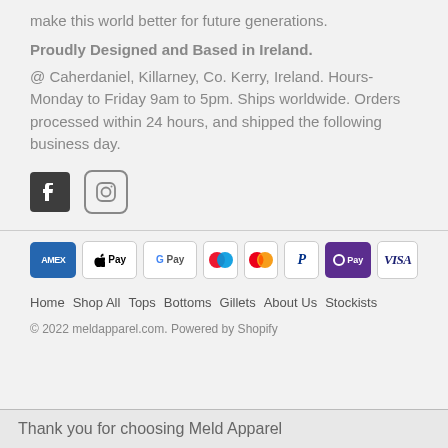make this world better for future generations.
Proudly Designed and Based in Ireland.
@ Caherdaniel, Killarney, Co. Kerry, Ireland. Hours- Monday to Friday 9am to 5pm. Ships worldwide. Orders processed within 24 hours, and shipped the following business day.
[Figure (other): Social media icons: Facebook and Instagram]
[Figure (other): Payment method icons: Amex, Apple Pay, Google Pay, Maestro, Mastercard, PayPal, OPay, Visa]
Home  Shop All  Tops  Bottoms  Gillets  About Us  Stockists
© 2022 meldapparel.com. Powered by Shopify
Thank you for choosing Meld Apparel